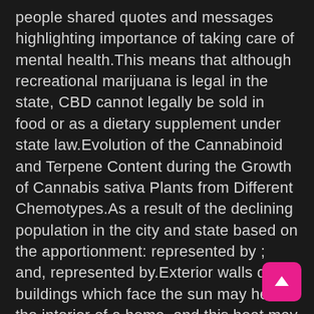people shared quotes and messages highlighting importance of taking care of mental health.This means that although recreational marijuana is legal in the state, CBD cannot legally be sold in food or as a dietary supplement under state law.Evolution of the Cannabinoid and Terpene Content during the Growth of Cannabis sativa Plants from Different Chemotypes.As a result of the declining population in the city and state based on the apportionment: represented by ; and, represented by.Exterior walls of buildings which face the sun may heat the interior of a home, and this heat may damage coffee stored near such a wall.Establishments primarily engaged in providing hospital, medical and ot health services on a service basis or combination of
[Figure (other): Pink scroll-to-top button with upward arrow in bottom-right corner]